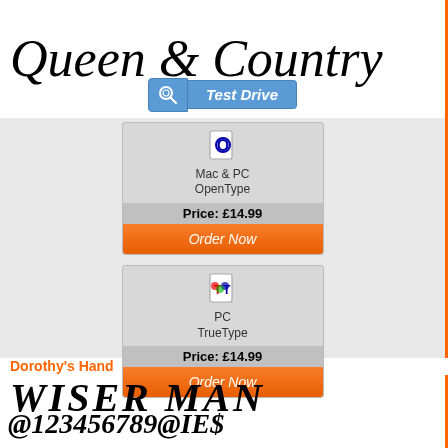Queen & Country
[Figure (screenshot): Font purchase widget with Test Drive button, Mac & PC OpenType at £14.99 with Order Now button, and PC TrueType at £14.99 with Order Now button, on a light grey background]
Dorothy's Hand
[Figure (illustration): Font sample showing handwritten text: WISER MAN, @123456789@IE$, box of tricks]